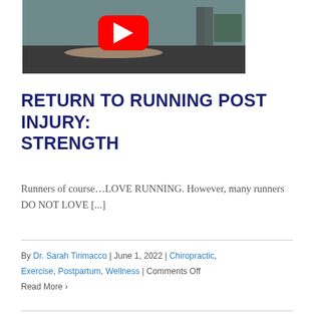[Figure (screenshot): YouTube video thumbnail showing a person doing an exercise in a gym with teal walls, with a YouTube play button overlay]
RETURN TO RUNNING POST INJURY: STRENGTH
Runners of course…LOVE RUNNING. However, many runners DO NOT LOVE [...]
By Dr. Sarah Tirimacco | June 1, 2022 | Chiropractic, Exercise, Postpartum, Wellness | Comments Off
Read More >